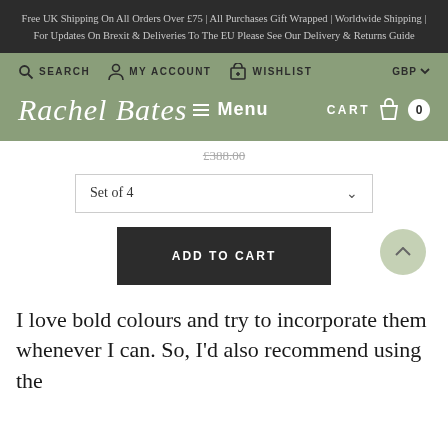Free UK Shipping On All Orders Over £75 | All Purchases Gift Wrapped | Worldwide Shipping | For Updates On Brexit & Deliveries To The EU Please See Our Delivery & Returns Guide
[Figure (screenshot): Navigation bar with Search, My Account, Wishlist icons and GBP currency selector on sage green background]
[Figure (logo): Rachel Bates logo with hamburger menu icon and MENU text, CART with shopping bag icon and 0 count badge on sage green background]
£388.00 (strikethrough price)
Set of 4
ADD TO CART
I love bold colours and try to incorporate them whenever I can. So, I'd also recommend using the